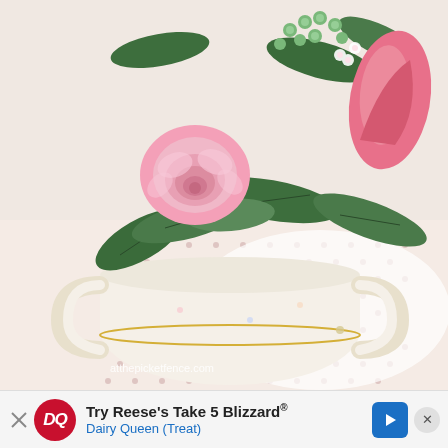[Figure (photo): Close-up photograph of a floral arrangement with pink roses and green leaves inside a white porcelain teacup with small floral print pattern, placed on a pink polka-dot tablecloth. Watermark reads atthepicketfence.com.]
[Figure (other): Advertisement banner for Dairy Queen: 'Try Reese's Take 5 Blizzard® Dairy Queen (Treat)' with DQ logo, blue arrow button, and close X button.]